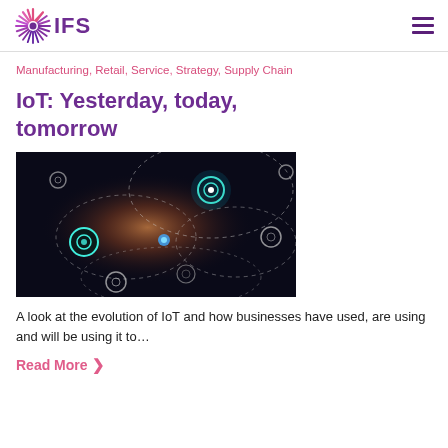IFS
Manufacturing, Retail, Service, Strategy, Supply Chain
IoT: Yesterday, today, tomorrow
[Figure (photo): A hand pointing at a glowing network node diagram with dashed circular connections and glowing circles on a dark background, representing IoT connectivity.]
A look at the evolution of IoT and how businesses have used, are using and will be using it to…
Read More ❯